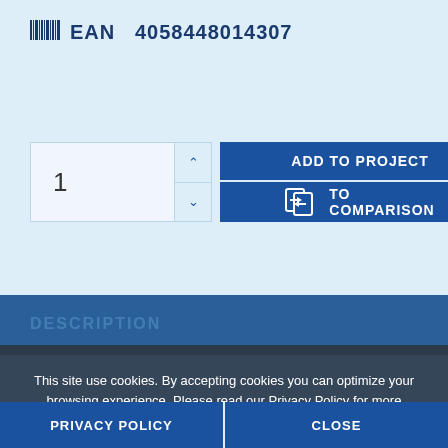EAN  4058448014307
1
ADD TO PROJECT
TO COMPARISON
DESCRIPTION
This site use cookies. By accepting cookies you can optimize your browsing experience. Please read our Privacy Policy for more information.
USE
PRIVACY POLICY
CLOSE